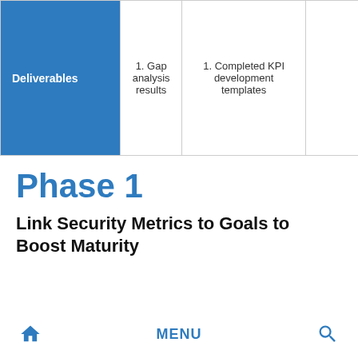| Deliverables |  |  |
| --- | --- | --- |
| Deliverables | 1. Gap analysis results | 1. Completed KPI development templates |
Phase 1
Link Security Metrics to Goals to Boost Maturity
MENU